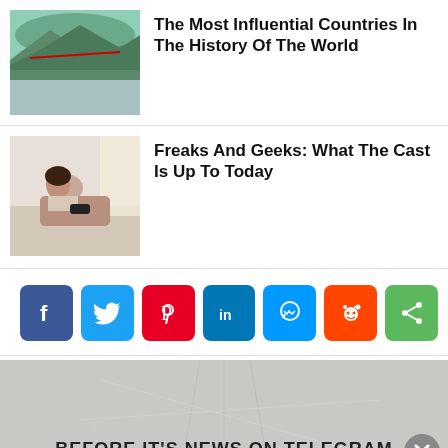[Figure (photo): Aerial view of cliff landscape with bridges]
The Most Influential Countries In The History Of The World
[Figure (photo): Woman posing on a bed]
Freaks And Geeks: What The Cast Is Up To Today
[Figure (infographic): Social media share buttons: Facebook, Twitter, Pinterest, LinkedIn, Messenger, Reddit, Share]
[Figure (photo): Telegram promotional banner with text BEFORE IT'S NEWS ON TELEGRAM]
READ MORE mgid